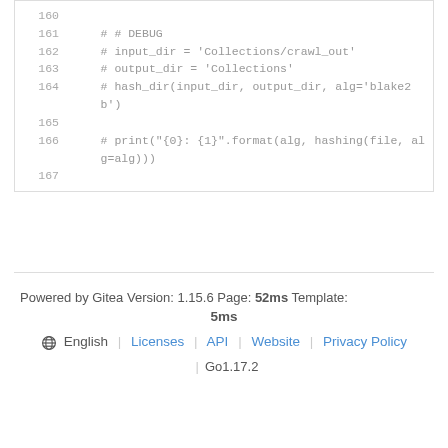160
161  # # DEBUG
162  # input_dir = 'Collections/crawl_out'
163  # output_dir = 'Collections'
164  # hash_dir(input_dir, output_dir, alg='blake2b')
165
166  # print("{0}: {1}".format(alg, hashing(file, alg=alg)))
167
Powered by Gitea Version: 1.15.6 Page: 52ms Template: 5ms
⊕ English | Licenses | API | Website | Privacy Policy
| Go1.17.2